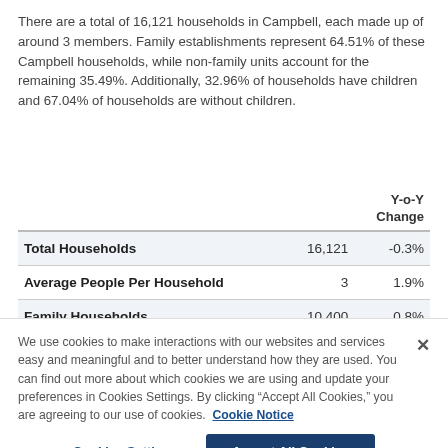There are a total of 16,121 households in Campbell, each made up of around 3 members. Family establishments represent 64.51% of these Campbell households, while non-family units account for the remaining 35.49%. Additionally, 32.96% of households have children and 67.04% of households are without children.
|  |  | Y-o-Y Change |
| --- | --- | --- |
| Total Households | 16,121 | -0.3% |
| Average People Per Household | 3 | 1.9% |
| Family Households | 10,400 | 0.8% |
We use cookies to make interactions with our websites and services easy and meaningful and to better understand how they are used. You can find out more about which cookies we are using and update your preferences in Cookies Settings. By clicking "Accept All Cookies," you are agreeing to our use of cookies. Cookie Notice